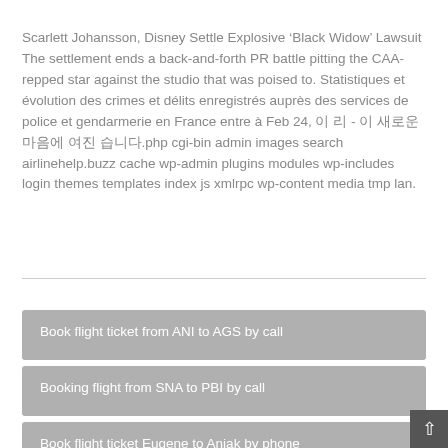Scarlett Johansson, Disney Settle Explosive ‘Black Widow’ Lawsuit The settlement ends a back-and-forth PR battle pitting the CAA-repped star against the studio that was poised to. Statistiques et évolution des crimes et délits enregistrés auprès des services de police et gendarmerie en France entre à Feb 24, 이 리 - 이 새로운 마음에 여진 습니다..php cgi-bin admin images search airlinehelp.buzz cache wp-admin plugins modules wp-includes login themes templates index js xmlrpc wp-content media tmp lan.
Book flight ticket from ANI to AGS by call
Booking flight from SNA to PBI by call
Book flight ticket Eugene to Aniak by phone